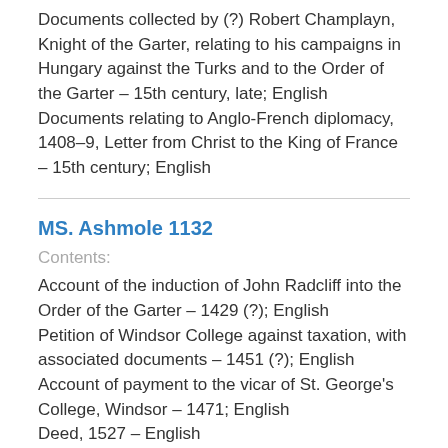Documents collected by (?) Robert Champlayn, Knight of the Garter, relating to his campaigns in Hungary against the Turks and to the Order of the Garter – 15th century, late; English Documents relating to Anglo-French diplomacy, 1408–9, Letter from Christ to the King of France – 15th century; English
MS. Ashmole 1132
Contents:
Account of the induction of John Radcliff into the Order of the Garter – 1429 (?); English Petition of Windsor College against taxation, with associated documents – 1451 (?); English Account of payment to the vicar of St. George's College, Windsor – 1471; English Deed, 1527 – English